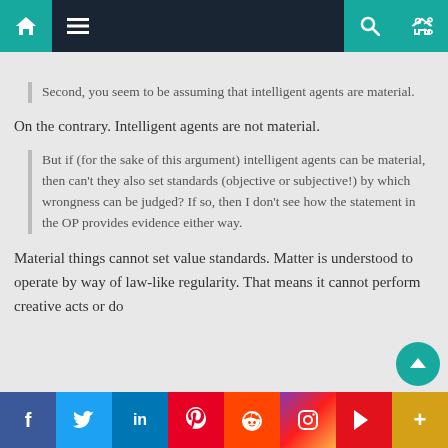[navigation bar with home, menu, search, random icons]
[truncated text from previous page]
Second, you seem to be assuming that intelligent agents are material.
On the contrary. Intelligent agents are not material.
But if (for the sake of this argument) intelligent agents can be material, then can't they also set standards (objective or subjective!) by which wrongness can be judged? If so, then I don't see how the statement in the OP provides evidence either way.
Material things cannot set value standards. Matter is understood to operate by way of law-like regularity. That means it cannot perform creative acts or do
Facebook Twitter LinkedIn Pinterest Reddit Instagram Flipboard More